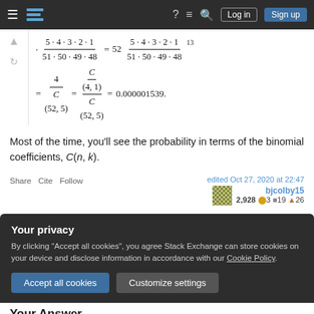Navigation bar with logo, icons, Log in and Sign up buttons
Most of the time, you'll see the probability in terms of the binomial coefficients, C(n, k).
Share  Cite  Follow
edited Oct 27, 2020 at 22:47
bjcolby15
2,928 ●3 ■19 ▲26
Your privacy
By clicking "Accept all cookies", you agree Stack Exchange can store cookies on your device and disclose information in accordance with our Cookie Policy.
Accept all cookies    Customize settings
Your Answer